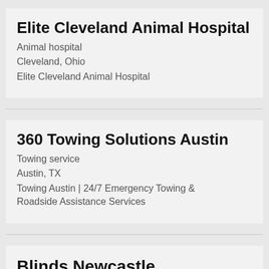Elite Cleveland Animal Hospital
Animal hospital
Cleveland, Ohio
Elite Cleveland Animal Hospital
360 Towing Solutions Austin
Towing service
Austin, TX
Towing Austin | 24/7 Emergency Towing & Roadside Assistance Services
Blinds Newcastle Professionals